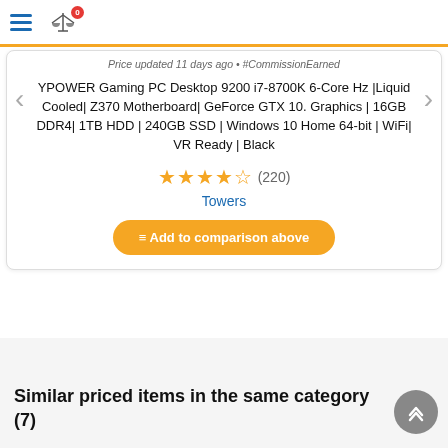Navigation header with hamburger menu and compare icon (badge: 0)
Price updated 11 days ago • #CommissionEarned
YPOWER Gaming PC Desktop 9200 i7-8700K 6-Core Hz |Liquid Cooled| Z370 Motherboard| GeForce GTX 10. Graphics | 16GB DDR4| 1TB HDD | 240GB SSD | Windows 10 Home 64-bit | WiFi| VR Ready | Black
★★★★½ (220)
Towers
≡ Add to comparison above
Similar priced items in the same category (7)